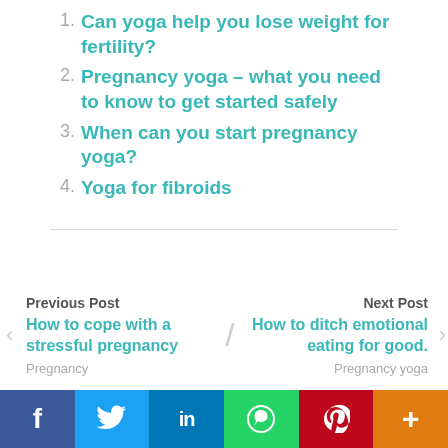1. Can yoga help you lose weight for fertility?
2. Pregnancy yoga – what you need to know to get started safely
3. When can you start pregnancy yoga?
4. Yoga for fibroids
Previous Post
How to cope with a stressful pregnancy
Pregnancy
Next Post
How to ditch emotional eating for good.
Pregnancy yoga
LEAVE A REPLY
[Figure (infographic): Social sharing bar with icons for Facebook, Twitter, LinkedIn, WhatsApp, Pinterest, and More (+)]